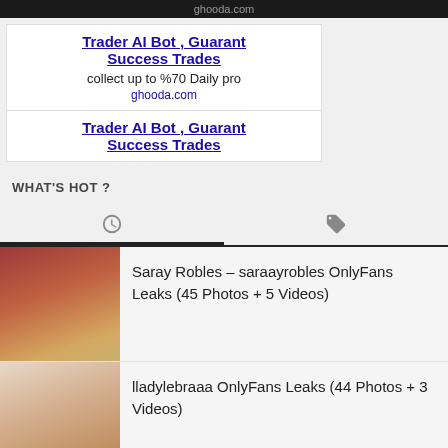ghooda.com
[Figure (screenshot): Advertisement box: Trader AI Bot, Guaranteed Success Trades. collect up to %70 Daily pro... ghooda.com]
[Figure (screenshot): Second advertisement box: Trader AI Bot, Guaranteed Success Trades (partial)]
WHAT'S HOT ?
[Figure (other): Tab bar with clock icon (recent) and tag icon (categories), with underline under clock tab]
Saray Robles – saraayrobles OnlyFans Leaks (45 Photos + 5 Videos)
lladylebraaa OnlyFans Leaks (44 Photos + 3 Videos)